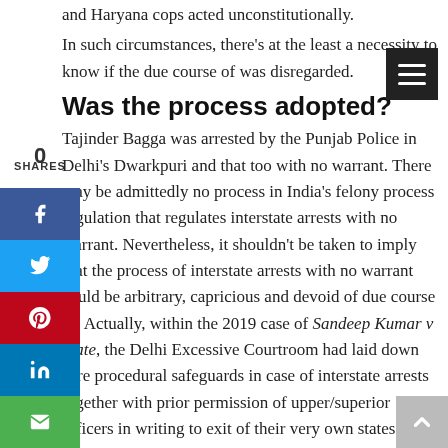and Haryana cops acted unconstitutionally.
In such circumstances, there's at the least a necessity to know if the due course of was disregarded.
Was the process adopted?
0
SHARES
Tajinder Bagga was arrested by the Punjab Police in Delhi's Dwarkpuri and that too with no warrant. There may be admittedly no process in India's felony process regulation that regulates interstate arrests with no warrant. Nevertheless, it shouldn't be taken to imply that the process of interstate arrests with no warrant could be arbitrary, capricious and devoid of due course of. Actually, within the 2019 case of Sandeep Kumar v State, the Delhi Excessive Courtroom had laid down sure procedural safeguards in case of interstate arrests together with prior permission of upper/superior officers in writing to exit of their very own states, recording causes in writing until there's an emergent scenario, contacting the native police station, giving the arrested particular person a chance of consulting his lawyer earlier than being taken out of the state and likewise visiting